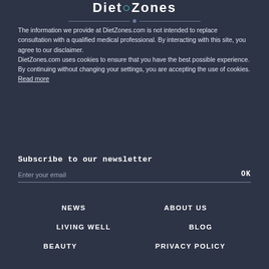[Figure (logo): DietZones logo with teal circle element and horizontal divider with center dot]
The information we provide at DietZones.com is not intended to replace consultation with a qualified medical professional. By interacting with this site, you agree to our disclaimer.
DietZones.com uses cookies to ensure that you have the best possible experience. By continuing without changing your settings, you are accepting the use of cookies. Read more
Subscribe to our newsletter
Enter your email
NEWS
ABOUT US
LIVING WELL
BLOG
BEAUTY
PRIVACY POLICY